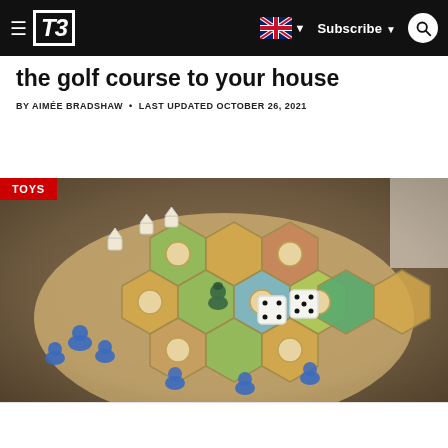T3 — hamburger menu, UK flag language selector, Subscribe, Search
the golf course to your house
BY AIMÉE BRADSHAW • LAST UPDATED OCTOBER 26, 2021
[Figure (photo): Close-up photo of a Catan board game in play, showing hexagonal tiles with settlements, blue player pieces, dice, and resource tokens on a wooden table. A red TOYS tag overlay appears in the top-left corner.]